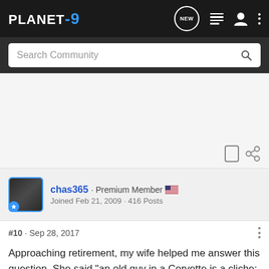PLANET-9 [navigation bar with NEW, list, user, menu icons]
Search Community
chas365 · Premium Member · Joined Feb 21, 2009 · 416 Posts
#10 · Sep 28, 2017
Approaching retirement, my wife helped me answer this question. She said "an old guy in a Corvette is a cliche; an old guy in a Porsche is sexy"